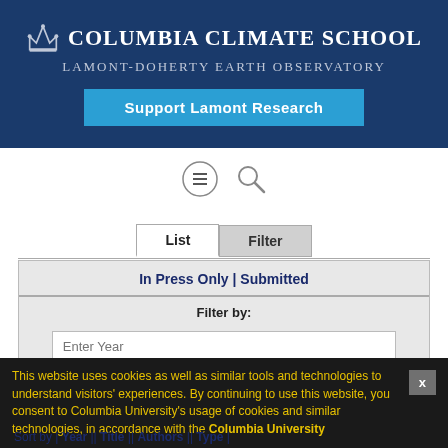[Figure (logo): Columbia Climate School / Lamont-Doherty Earth Observatory logo with crown icon and text on dark blue banner, with 'Support Lamont Research' button]
[Figure (screenshot): Navigation icons: hamburger menu circle and search magnifying glass]
List | Filter (tabs)
| In Press Only | Submitted |
| Filter by: |
| Enter Year (input) |
| Enter Author (input) |
| Select Type (dropdown) |
This website uses cookies as well as similar tools and technologies to understand visitors' experiences. By continuing to use this website, you consent to Columbia University's usage of cookies and similar technologies, in accordance with the Columbia University
Sort by | Year || Title || Authors || Type |